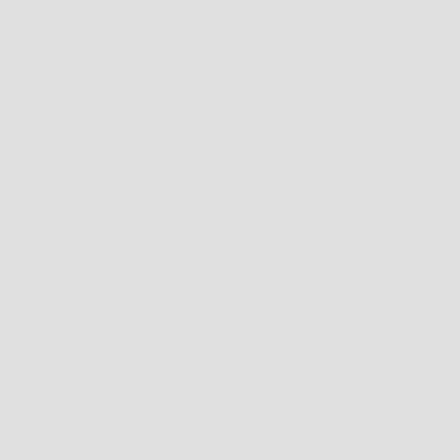MembersProf. Nadaoka, A.
To [[APN homepage>http:/
*2007 [#q3150587]
~''Dec 19''&br;
We had [[end of the year
~''Nov 6 - Dec6''&br;
We conducted a field sur
Members: Prof. Nadaoka,
[[Laguna Lake(11/6, 7, 2
[[Bolinao(11/11-12/4)>Bo
''Nov 23 - 25''&br;
We attended 10th Annual
Members : Prof. Nadaoka,
''Oct 5''&br;
Two new students joined
Mrs. Ankita P. DADHICH (
Mr. Shunsuke Motooka&br;
~''Sep 24 -Oct 4''&br;
We conducted a field sur
Members: Prof. Nadaoka,
~''Sep 26''&br;
Prof Nadaoka's interview
(??????????)&br;
Air date : 2007.9.26 (we